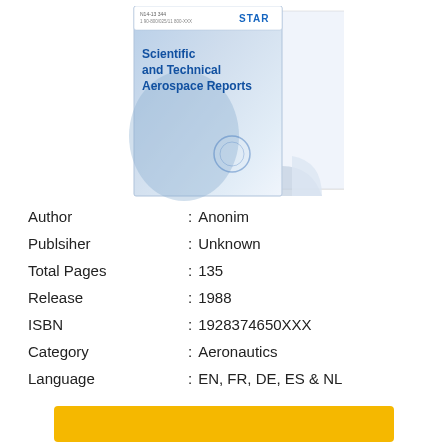[Figure (photo): Book cover of 'Scientific and Technical Aerospace Reports' with STAR logo, shown with a page curl effect on a light blue gradient background]
Author : Anonim
Publsiher : Unknown
Total Pages : 135
Release : 1988
ISBN : 1928374650XXX
Category : Aeronautics
Language : EN, FR, DE, ES & NL